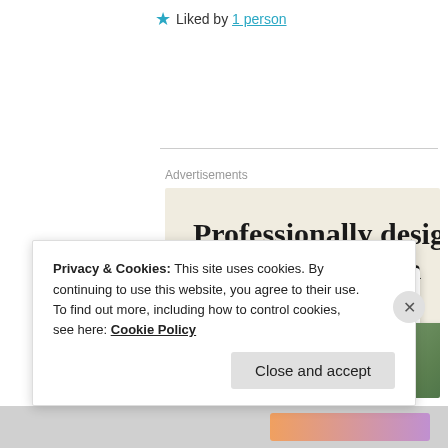★ Liked by 1 person
Advertisements
[Figure (screenshot): Advertisement banner for a website design service showing the headline 'Professionally designed sites in less than a week' with a green 'Explore options' button and screenshots of website templates on a beige background.]
Privacy & Cookies: This site uses cookies. By continuing to use this website, you agree to their use.
To find out more, including how to control cookies, see here: Cookie Policy
Close and accept